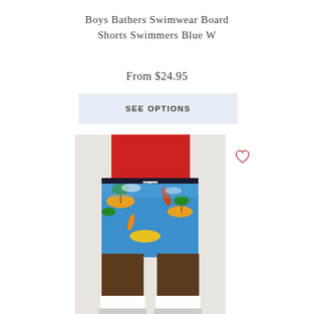Boys Bathers Swimwear Board Shorts Swimmers Blue W
From $24.95
SEE OPTIONS
[Figure (photo): A child wearing colorful tropical-print board shorts (blue background with palm trees, surfboards and beach scenes) with a red shirt, white socks and grey-tipped shoes, photographed against a light grey background.]